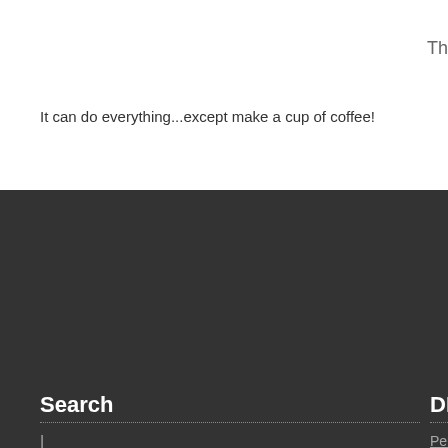Th
It can do everything...except make a cup of coffee!
Search
DDS
|
Search ...
Perfect Pow
Shop Online
DDS Calorin Solutions
International Dealer & End User Shop
Local (South Africa) Dealer & End User Shop